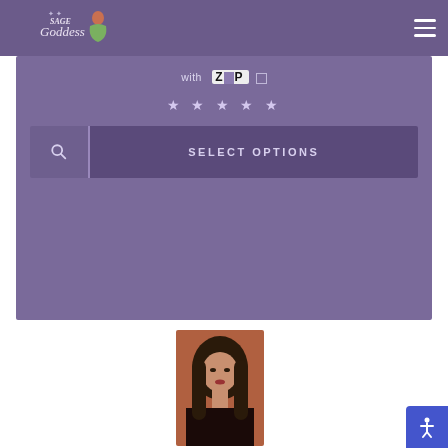[Figure (logo): Sage Goddess logo with illustrated woman in green dress]
[Figure (screenshot): Website UI showing 'with ZIP' payment option, 5 stars rating, and SELECT OPTIONS button on purple background]
[Figure (photo): Portrait photo of a woman with long dark hair]